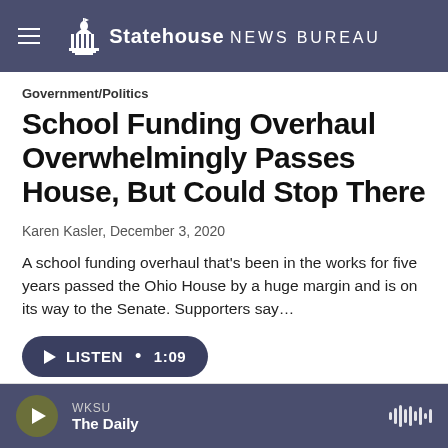Statehouse News Bureau
Government/Politics
School Funding Overhaul Overwhelmingly Passes House, But Could Stop There
Karen Kasler,  December 3, 2020
A school funding overhaul that's been in the works for five years passed the Ohio House by a huge margin and is on its way to the Senate. Supporters say…
[Figure (other): Listen audio button showing play icon, LISTEN label, and duration 1:09]
WKSU — The Daily (audio player footer)